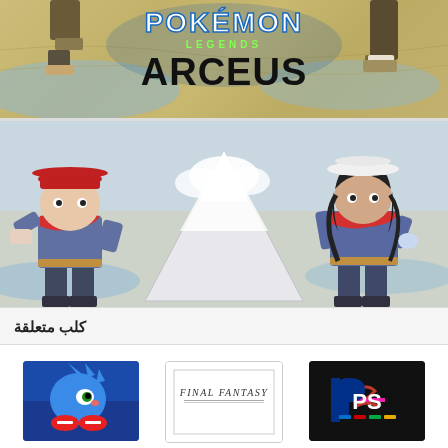[Figure (illustration): Pokemon Legends Arceus top banner with logo text 'POKEMON LEGENDS ARCEUS' and character feet visible at top, map background]
[Figure (illustration): Pokemon Legends Arceus second banner showing two characters (one with red hat/scarf on left, one with white hat/dark hair on right) with mountain landscape background]
كلب متعلقة
[Figure (illustration): Sonic the Hedgehog game art thumbnail]
Sonic the Hedgehog
[Figure (illustration): Final Fantasy logo thumbnail]
Final Fantasy
[Figure (illustration): PlayStation logo on black background]
Playstation
[Figure (illustration): Video Games NES controller thumbnail]
Video Games
[Figure (illustration): Super Mario Bros red background with Super Mario logo]
Super Mario Bros.
[Figure (illustration): Nintendo logo with Mario character on white background]
Nintendo
[Figure (illustration): Partial thumbnail dark background - bottom row item 1]
[Figure (illustration): Partial thumbnail light background - bottom row item 2]
[Figure (illustration): Partial thumbnail pink/red background - bottom row item 3]